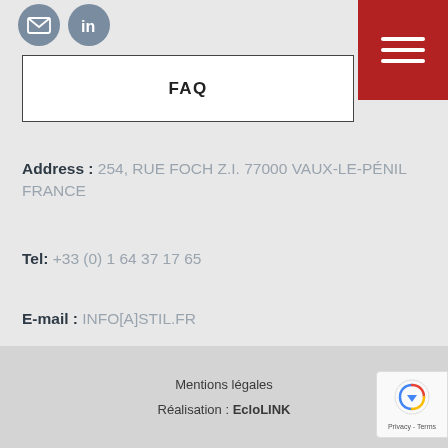[Figure (logo): Two social media icon circles (email and LinkedIn) in gray/blue tones, top left]
[Figure (other): Red hamburger menu button with three white horizontal lines, top right]
FAQ
Address : 254, RUE FOCH Z.I. 77000 VAUX-LE-PÉNIL FRANCE
Tel: +33 (0) 1 64 37 17 65
E-mail : INFO[A]STIL.FR
Mentions légales
Réalisation : EcloLINK